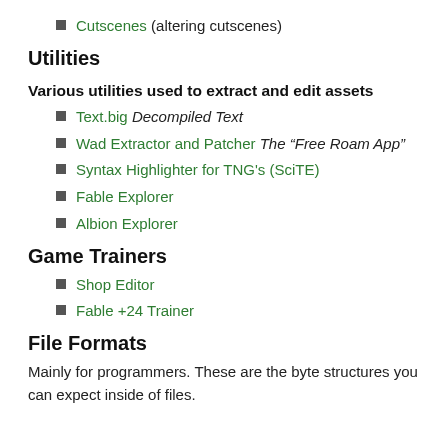Cutscenes (altering cutscenes)
Utilities
Various utilities used to extract and edit assets
Text.big Decompiled Text
Wad Extractor and Patcher The “Free Roam App”
Syntax Highlighter for TNG's (SciTE)
Fable Explorer
Albion Explorer
Game Trainers
Shop Editor
Fable +24 Trainer
File Formats
Mainly for programmers. These are the byte structures you can expect inside of files.